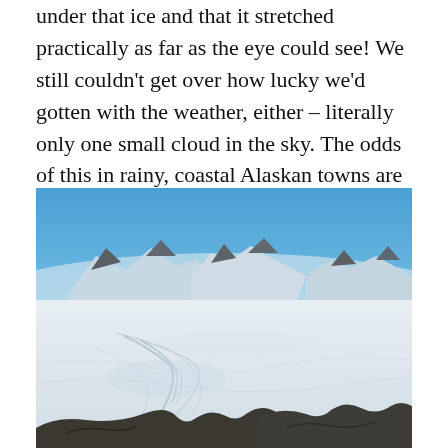under that ice and that it stretched practically as far as the eye could see! We still couldn't get over how lucky we'd gotten with the weather, either – literally only one small cloud in the sky. The odds of this in rainy, coastal Alaskan towns are probably about comparable to seeing Denali all the way out!
[Figure (photo): A panoramic photograph of a vast glacial icefield under a clear blue sky. Snow-covered mountain peaks rise in the background, with several rocky dark summits visible. The foreground shows the textured surface of a glacier with crevasses and flow patterns. Rocky terrain is visible at the very bottom edge.]